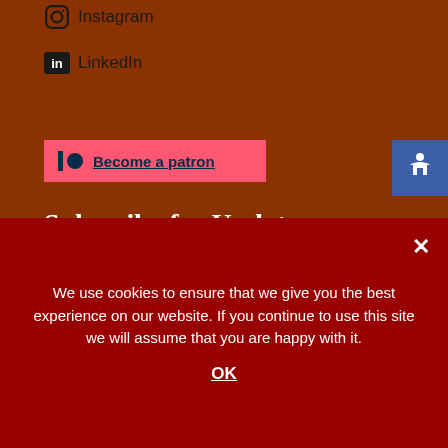Instagram
LinkedIn
Become a patron
Subscribe for Updates
Your email:
Enter email address...
We use cookies to ensure that we give you the best experience on our website. If you continue to use this site we will assume that you are happy with it.
OK